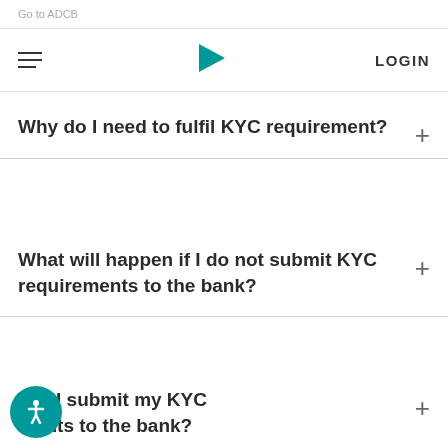Go to ADCB
LOGIN
Why do I need to fulfil KYC requirement?
What will happen if I do not submit KYC requirements to the bank?
can I submit my KYC ments to the bank?